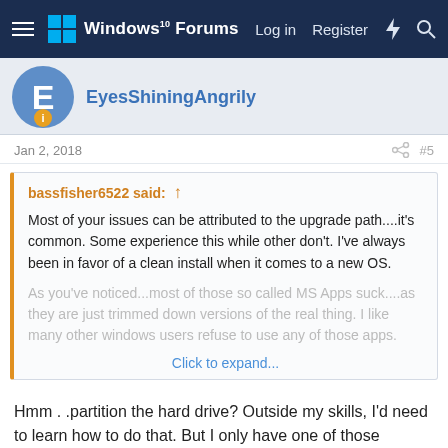Windows 10 Forums — Log in  Register
EyesShiningAngrily
Jan 2, 2018  #5
bassfisher6522 said: ↑
Most of your issues can be attributed to the upgrade path....it's common. Some experience this while other don't. I've always been in favor of a clean install when it comes to a new OS.
As you've noticed...most of those so called MS Apps suck....as they are just trimmed down versions of the real thing. I like many other windows users refuse to use any of those apps.
Click to expand...
Hmm . .partition the hard drive? Outside my skills, I'd need to learn how to do that. But I only have one of those product key numbers so not sure if it would allow me to have both